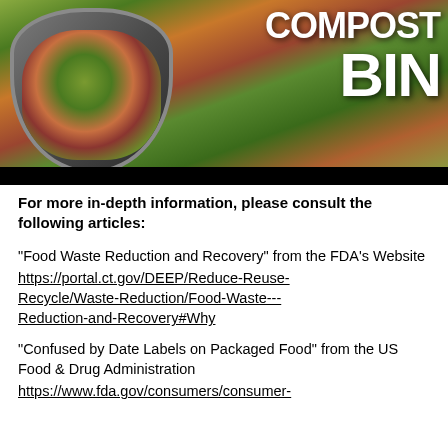[Figure (photo): Photo of a compost bin with food waste including colorful vegetable scraps. Large white bold text overlaid reads 'COMPOST BIN' on the right side. A black bar appears below the image.]
For more in-depth information, please consult the following articles:
"Food Waste Reduction and Recovery" from the FDA’s Website https://portal.ct.gov/DEEP/Reduce-Reuse-Recycle/Waste-Reduction/Food-Waste---Reduction-and-Recovery#Why
"Confused by Date Labels on Packaged Food" from the US Food & Drug Administration https://www.fda.gov/consumers/consumer-